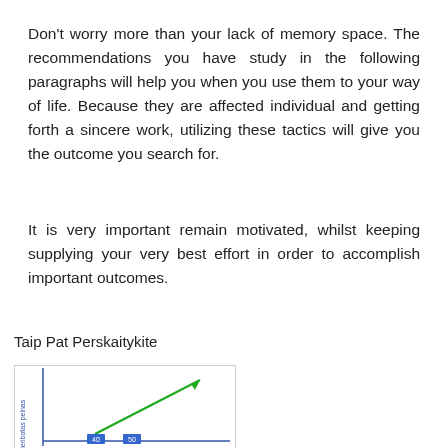Don't worry more than your lack of memory space. The recommendations you have study in the following paragraphs will help you when you use them to your way of life. Because they are affected individual and getting forth a sincere work, utilizing these tactics will give you the outcome you search for.
It is very important remain motivated, whilst keeping supplying your very best effort in order to accomplish important outcomes.
Taip Pat Perskaitykite
[Figure (continuous-plot): A line chart with a green upward trending arrow/line and blue x-axis markers at approximately 40 and 50. The y-axis label reads 'Neribotas pelnas' (vertical text). The chart appears to show an increasing trend.]